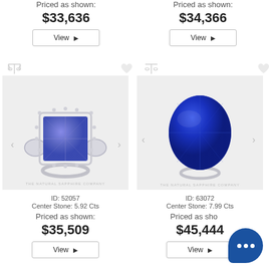Priced as shown:
$33,636
View
Priced as shown:
$34,366
View
[Figure (photo): Square-cut blue sapphire ring with diamond halo setting on silver band, watermark: THE NATURAL SAPPHIRE COMPANY]
ID: 52057
Center Stone: 5.92 Cts
Priced as shown:
$35,509
View
[Figure (photo): Oval-cut deep blue sapphire ring on silver band, watermark: THE NATURAL SAPPHIRE COMPANY]
ID: 63072
Center Stone: 7.99 Cts
Priced as shown:
$45,444
View